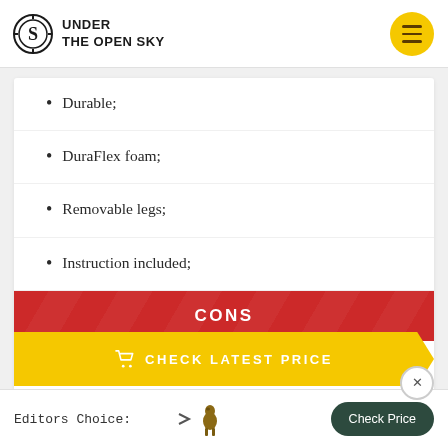[Figure (logo): Under The Open Sky logo with stylized S icon]
Durable;
DuraFlex foam;
Removable legs;
Instruction included;
CONS
Extremely expensive;
CHECK LATEST PRICE
Editors Choice: Check Price